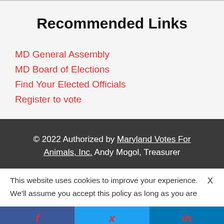Recommended Links
MD General Assembly
MD Board of Elections
Find Your Elected Officials
Register to vote
© 2022 Authorized by Maryland Votes For Animals, Inc. Andy Mogol, Treasurer
This website uses cookies to improve your experience.   X
We'll assume you accept this policy as long as you are